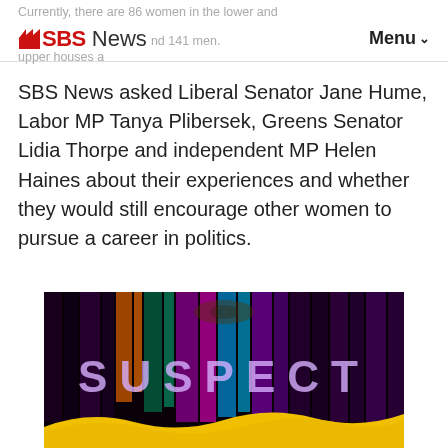Currently, there are 86 women in the lower and upper houses and 141 men. SBS News Menu
SBS News asked Liberal Senator Jane Hume, Labor MP Tanya Plibersek, Greens Senator Lidia Thorpe and independent MP Helen Haines about their experiences and whether they would still encourage other women to pursue a career in politics.
[Figure (photo): Dark promotional image with vertical colored light streaks and the word SUSPECT displayed in large purple/white letters across the center, with a gold wave design at the bottom.]